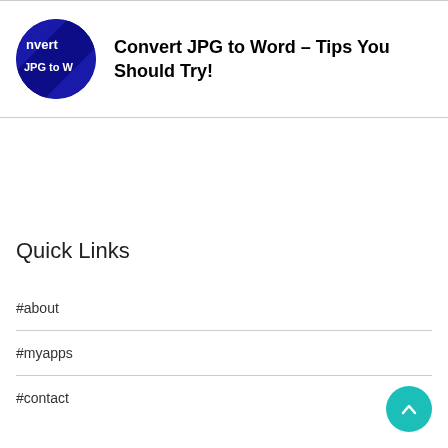[Figure (logo): Circular dark blue logo with text 'nvert JPG to W' visible, representing a JPG to Word converter application icon]
Convert JPG to Word – Tips You Should Try!
Quick Links
#about
#myapps
#contact